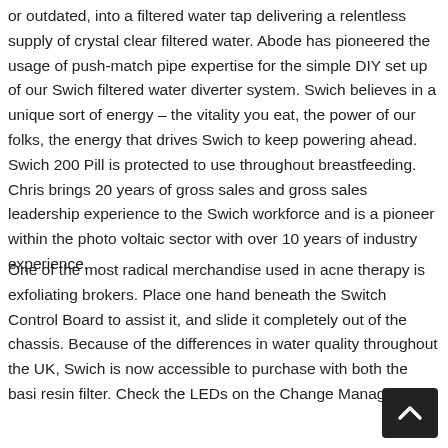or outdated, into a filtered water tap delivering a relentless supply of crystal clear filtered water. Abode has pioneered the usage of push-match pipe expertise for the simple DIY set up of our Swich filtered water diverter system. Swich believes in a unique sort of energy – the vitality you eat, the power of our folks, the energy that drives Swich to keep powering ahead. Swich 200 Pill is protected to use throughout breastfeeding. Chris brings 20 years of gross sales and gross sales leadership experience to the Swich workforce and is a pioneer within the photo voltaic sector with over 10 years of industry experience.
One of the most radical merchandise used in acne therapy is exfoliating brokers. Place one hand beneath the Switch Control Board to assist it, and slide it completely out of the chassis. Because of the differences in water quality throughout the UK, Swich is now accessible to purchase with both the basic resin filter. Check the LEDs on the Change Management